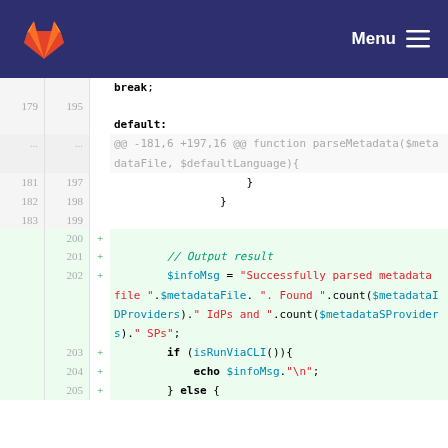GitLab navigation bar with Menu
[Figure (screenshot): GitLab code diff view showing lines 179-205 of a PHP file with added lines 200-205 showing output result code including $infoMsg assignment and isRunViaCLI conditional]
Code diff snippet showing: break; default: @@ -181,6 +197,16 @@ function parseMetadata($metadataFile, $defaultLanguage){ } } [added] // Output result [added] $infoMsg = "Successfully parsed metadata file ".$metadataFile. ". Found ".count($metadataIDProviders)." IdPs and ".count($metadataSProviders)." SPs"; [added] if (isRunViaCLI()){ [added] echo $infoMsg."\n"; [added] } else {